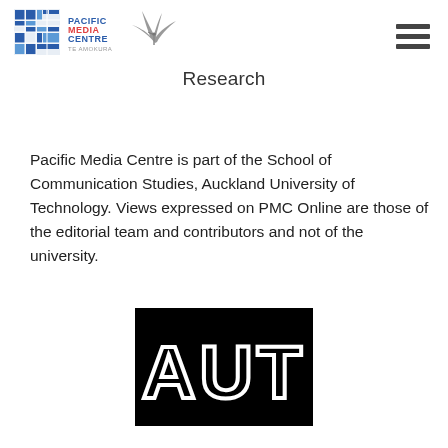[Figure (logo): Pacific Media Centre Te Amokura logo with mosaic pattern, seabird, and coloured text]
[Figure (logo): Hamburger menu icon (three horizontal bars)]
Research
Pacific Media Centre is part of the School of Communication Studies, Auckland University of Technology. Views expressed on PMC Online are those of the editorial team and contributors and not of the university.
[Figure (logo): AUT (Auckland University of Technology) logo — white outlined letters AUT on black background]